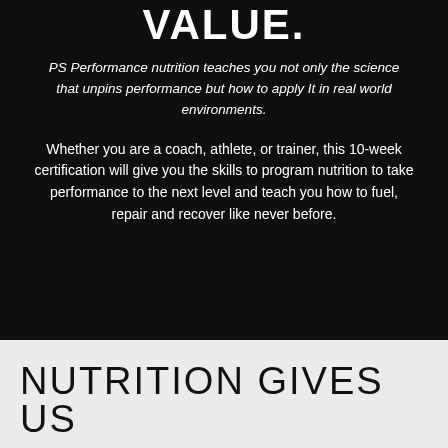VALUE.
PS Performance nutrition teaches you not only the science that unpins performance but how to apply It in real world environments.
Whether you are a coach, athlete, or trainer, this 10-week certification will give you the skills to program nutrition to take performance to the next level and teach you how to fuel, repair and recover like never before.
NUTRITION GIVES US